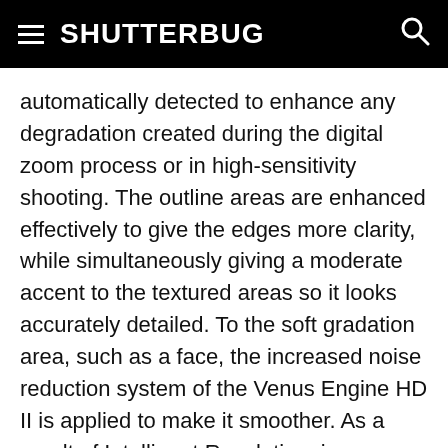SHUTTERBUG
automatically detected to enhance any degradation created during the digital zoom process or in high-sensitivity shooting. The outline areas are enhanced effectively to give the edges more clarity, while simultaneously giving a moderate accent to the textured areas so it looks accurately detailed. To the soft gradation area, such as a face, the increased noise reduction system of the Venus Engine HD II is applied to make it smoother. As a result of Intelligent Resolution, images are naturally clear and crisp in both photo and video recording. The Intelligent Resolution technology powers Panasonic's new Intelligent Zoom feature, which extends the camera's zoom ratio by approximately 1.3x while